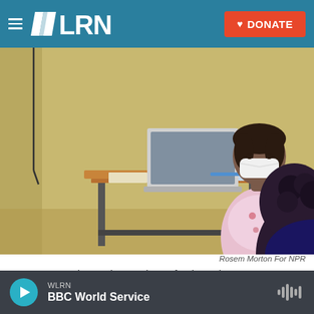WLRN | DONATE
[Figure (photo): A woman wearing a white face mask and a floral top sits at a wooden desk with a laptop open, across from another person whose back is to the camera. The room has yellow-green walls and a cable on the wall.]
Rosem Morton For NPR
Margarette Osias, patient navigator for the Delaware Breast Cancer Coalition, speaks with one of her patients and assists her in scheduling a cancer screening. Osias is a bilingual Haitian Creole speaker, which helps her connect with the community she works with in Sussex County, Delaware.
WLRN BBC World Service